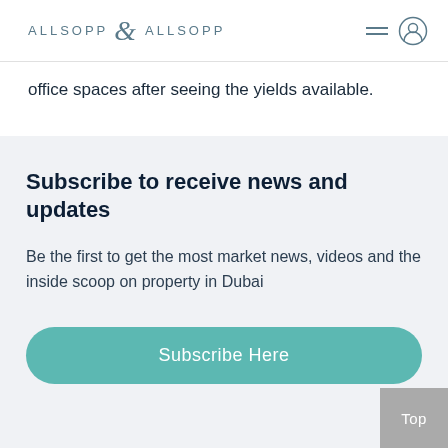ALLSOPP & ALLSOPP
office spaces after seeing the yields available.
Subscribe to receive news and updates
Be the first to get the most market news, videos and the inside scoop on property in Dubai
Subscribe Here
Top